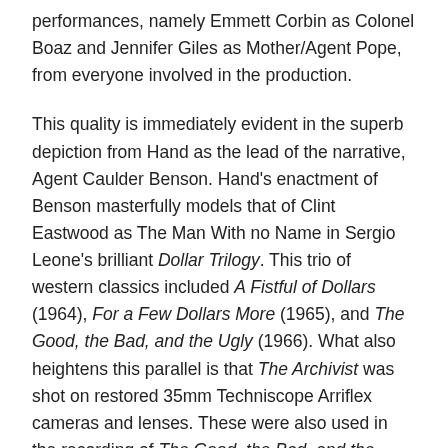performances, namely Emmett Corbin as Colonel Boaz and Jennifer Giles as Mother/Agent Pope, from everyone involved in the production.
This quality is immediately evident in the superb depiction from Hand as the lead of the narrative, Agent Caulder Benson. Hand's enactment of Benson masterfully models that of Clint Eastwood as The Man With no Name in Sergio Leone's brilliant Dollar Trilogy. This trio of western classics included A Fistful of Dollars (1964), For a Few Dollars More (1965), and The Good, the Bad, and the Ugly (1966). What also heightens this parallel is that The Archivist was shot on restored 35mm Techniscope Arriflex cameras and lenses. These were also used in the recording of The Good, the Bad, and the Ugly. When Hand's effort gradually aligns itself to a series of events one would associate with the previously